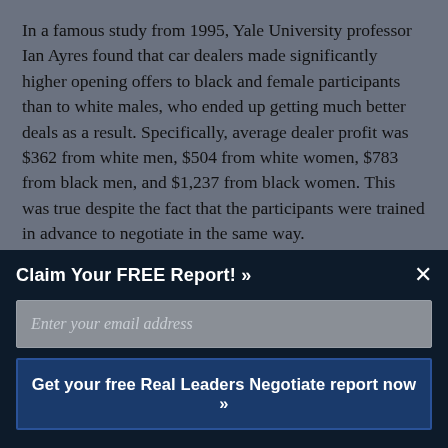In a famous study from 1995, Yale University professor Ian Ayres found that car dealers made significantly higher opening offers to black and female participants than to white males, who ended up getting much better deals as a result. Specifically, average dealer profit was $362 from white men, $504 from white women, $783 from black men, and $1,237 from black women. This was true despite the fact that the participants were trained in advance to negotiate in the same way.
The study results starkly illustrate that in negotiation,
Claim Your FREE Report! »
Enter your email address
Get your free Real Leaders Negotiate report now »